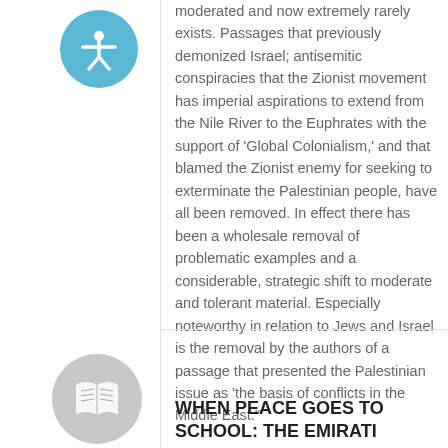moderated and now extremely rarely exists. Passages that previously demonized Israel; antisemitic conspiracies that the Zionist movement has imperial aspirations to extend from the Nile River to the Euphrates with the support of 'Global Colonialism,' and that blamed the Zionist enemy for seeking to exterminate the Palestinian people, have all been removed. In effect there has been a wholesale removal of problematic examples and a considerable, strategic shift to moderate and tolerant material. Especially noteworthy in relation to Jews and Israel is the removal by the authors of a passage that presented the Palestinian issue as 'the basis of conflicts in the Middle East.'"
WHEN PEACE GOES TO SCHOOL: THE EMIRATI